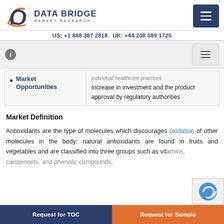DATA BRIDGE MARKET RESEARCH | US: +1 888 387 2818 UK: +44 208 089 1725
| Market Opportunities | individual healthcare practices
Increase in investment and the product approval by regulatory authorities |
Market Definition
Antioxidants are the type of molecules which discourages oxidation of other molecules in the body; natural antioxidants are found in fruits and vegetables and are classified into three groups such as vitamins, carotenoids, and phenolic compounds.